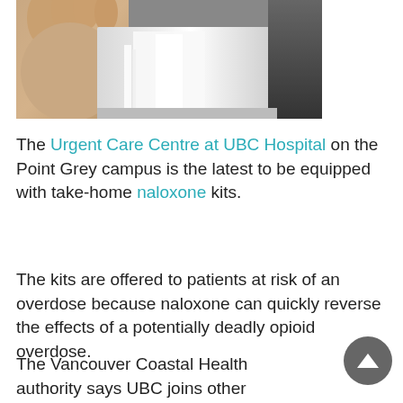[Figure (photo): A hand holding a metallic/reflective container or tray, with a dark background on the right side.]
The Urgent Care Centre at UBC Hospital on the Point Grey campus is the latest to be equipped with take-home naloxone kits.
The kits are offered to patients at risk of an overdose because naloxone can quickly reverse the effects of a potentially deadly opioid overdose.
The Vancouver Coastal Health authority says UBC joins other hospitals and health-care facilities already offering the kits within the region.